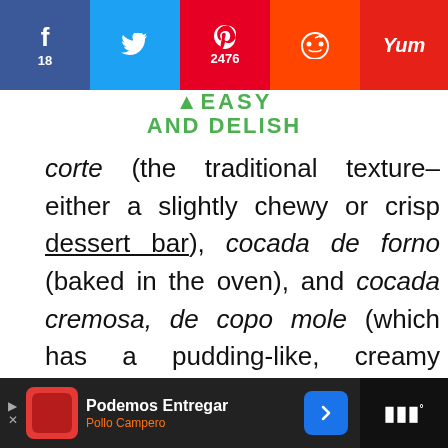Social share bar: Facebook 18, Twitter, Pinterest 2476, Reddit, Yummly
[Figure (logo): Easy and Delish logo in green]
corte (the traditional texture– either a slightly chewy or crisp dessert bar), cocada de forno (baked in the oven), and cocada cremosa, de copo mole (which has a pudding-like, creamy texture).
[Figure (infographic): Orange advertisement banner: can help hungry kids. No Kid Hungry. Learn How.]
WHAT'S NEXT → Brazilian Breakfast an...
Podemos Entregar — Pollo Campero